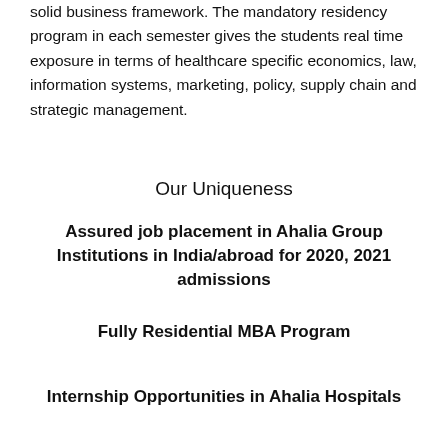solid business framework. The mandatory residency program in each semester gives the students real time exposure in terms of healthcare specific economics, law, information systems, marketing, policy, supply chain and strategic management.
Our Uniqueness
Assured job placement in Ahalia Group Institutions in India/abroad for 2020, 2021 admissions
Fully Residential MBA Program
Internship Opportunities in Ahalia Hospitals